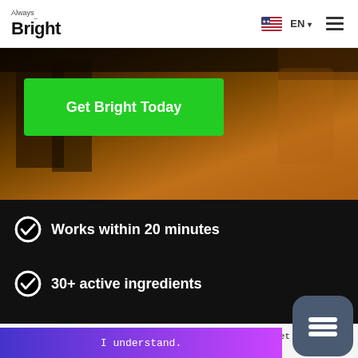Always_ Bright — navigation with EN language selector and hamburger menu
[Figure (photo): Hero background showing people shopping, with warm amber/brown tones]
Get Bright Today
Works within 20 minutes
30+ active ingredients
🍪 This website uses cookies to ensure that you get the best experience on our website. Lear more...
I understand.